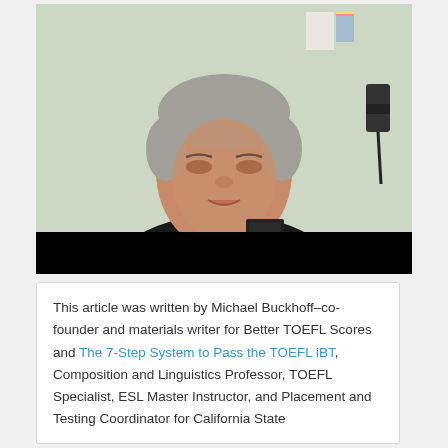[Figure (photo): A middle-aged man with gray hair wearing a black polo shirt, speaking or presenting, seated in front of a white/green wall with papers pinned to it and a dark object in the background. The bottom portion of the image is a black bar.]
This article was written by Michael Buckhoff–co-founder and materials writer for Better TOEFL Scores and The 7-Step System to Pass the TOEFL iBT, Composition and Linguistics Professor, TOEFL Specialist, ESL Master Instructor, and Placement and Testing Coordinator for California State